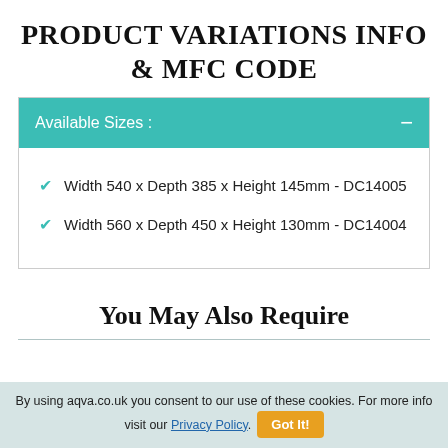PRODUCT VARIATIONS INFO & MFC CODE
Available Sizes :
Width 540 x Depth 385 x Height 145mm - DC14005
Width 560 x Depth 450 x Height 130mm - DC14004
You May Also Require
By using aqva.co.uk you consent to our use of these cookies. For more info visit our Privacy Policy. Got It!